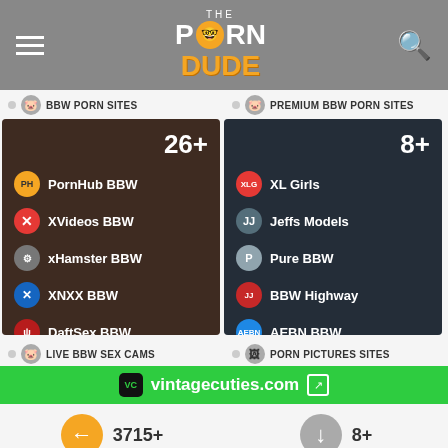The Porn Dude
BBW PORN SITES
PREMIUM BBW PORN SITES
[Figure (screenshot): BBW Porn Sites card showing 26+ sites including PornHub BBW, XVideos BBW, xHamster BBW, XNXX BBW, DaftSex BBW]
[Figure (screenshot): Premium BBW Porn Sites card showing 8+ sites including XL Girls, Jeffs Models, Pure BBW, BBW Highway, AEBN BBW]
LIVE BBW SEX CAMS
PORN PICTURES SITES
vintagecuties.com
3715+
All Porn Sites
8+
Premium Vintage Porn Sites